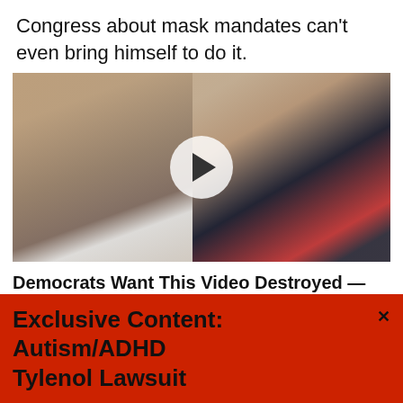Congress about mask mandates can't even bring himself to do it.
[Figure (photo): Video thumbnail showing two public figures, with a play button circle overlay in the center.]
Democrats Want This Video Destroyed — Watch Now Before It's Banned
Exclusive Content: Autism/ADHD Tylenol Lawsuit